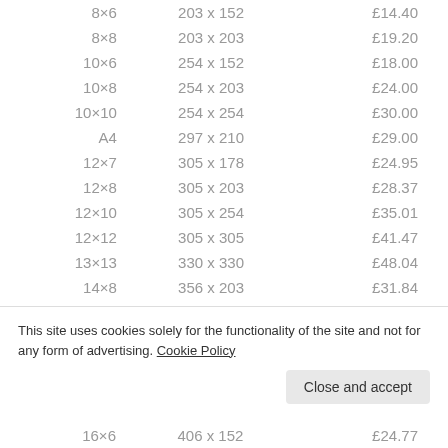| Size | Dimensions (mm) | Price |
| --- | --- | --- |
| 8×6 | 203 x 152 | £14.40 |
| 8×8 | 203 x 203 | £19.20 |
| 10×6 | 254 x 152 | £18.00 |
| 10×8 | 254 x 203 | £24.00 |
| 10×10 | 254 x 254 | £30.00 |
| A4 | 297 x 210 | £29.00 |
| 12×7 | 305 x 178 | £24.95 |
| 12×8 | 305 x 203 | £28.37 |
| 12×10 | 305 x 254 | £35.01 |
| 12×12 | 305 x 305 | £41.47 |
| 13×13 | 330 x 330 | £48.04 |
| 14×8 | 356 x 203 | £31.84 |
| 14×10 | 356 x 254 | £39.27 |
| 15×10 | 381 x 254 | £41.52 |
| 16×6 | 406 x 152 | £24.77 |
This site uses cookies solely for the functionality of the site and not for any form of advertising. Cookie Policy